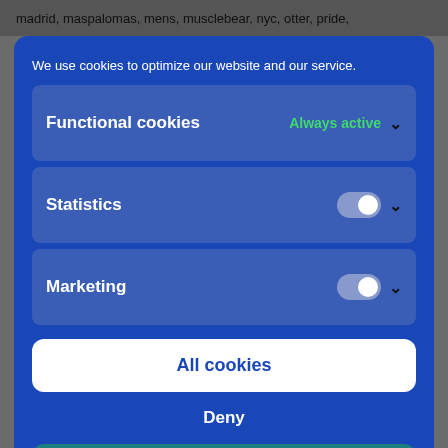madrid, maspalomas, mens, musclebear, nyc, otter, pride,
We use cookies to optimize our website and our service.
Functional cookies
Always active
Statistics
Marketing
All cookies
Deny
Save preferences
Cookie Policy  Privacy